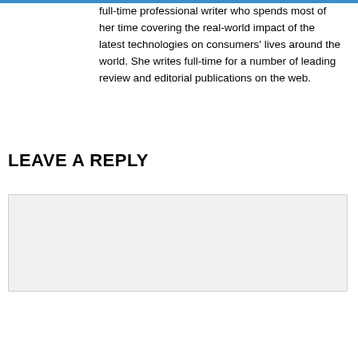full-time professional writer who spends most of her time covering the real-world impact of the latest technologies on consumers' lives around the world. She writes full-time for a number of leading review and editorial publications on the web.
LEAVE A REPLY
Comment Text*